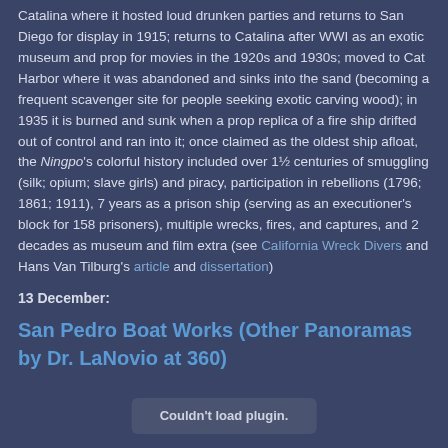Catalina where it hosted loud drunken parties and returns to San Diego for display in 1915; returns to Catalina after WWI as an exotic museum and prop for movies in the 1920s and 1930s; moved to Cat Harbor where it was abandoned and sinks into the sand (becoming a frequent scavenger site for people seeking exotic carving wood); in 1935 it is burned and sunk when a prop replica of a fire ship drifted out of control and ran into it; once claimed as the oldest ship afloat, the Ningpo's colorful history included over 1½ centuries of smuggling (silk; opium; slave girls) and piracy, participation in rebellions (1796; 1861; 1911), 7 years as a prison ship (serving as an executioner's block for 158 prisoners), multiple wrecks, fires, and captures, and 2 decades as museum and film extra (see California Wreck Divers and Hans Van Tilburg's article and dissertation)
13 December:
San Pedro Boat Works (Other Panoramas by Dr. LaNovio at 360)
[Figure (other): Plugin placeholder box with text 'Couldn't load plugin.']